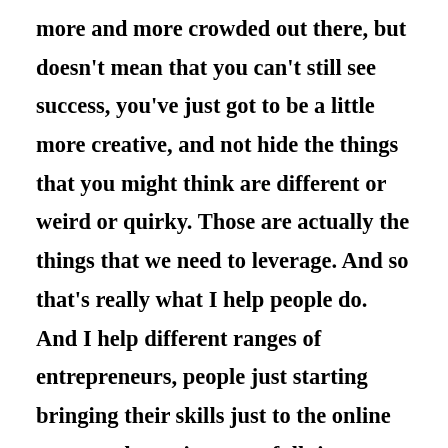more and more crowded out there, but doesn't mean that you can't still see success, you've just got to be a little more creative, and not hide the things that you might think are different or weird or quirky. Those are actually the things that we need to leverage. And so that's really what I help people do. And I help different ranges of entrepreneurs, people just starting bringing their skills just to the online space and wanting to go full time, as well as I have programs that serve higher level entrepreneurs who've just been in it for quite a long time and want to play bigger, go bigger, you know, do all those all those